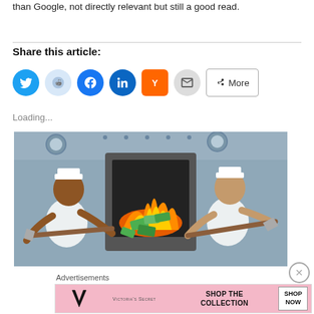than Google, not directly relevant but still a good read.
Share this article:
[Figure (infographic): Social sharing buttons: Twitter (blue circle), Reddit (light blue circle), Facebook (blue circle), LinkedIn (dark blue circle), Hacker News Y (orange square), Email (grey circle), More button (outlined)]
Loading...
[Figure (illustration): Cartoon illustration of two sailors shoveling money into a furnace/boiler on a ship]
Advertisements
[Figure (screenshot): Victoria's Secret advertisement banner: pink background, VS logo, 'SHOP THE COLLECTION' text, 'SHOP NOW' button]